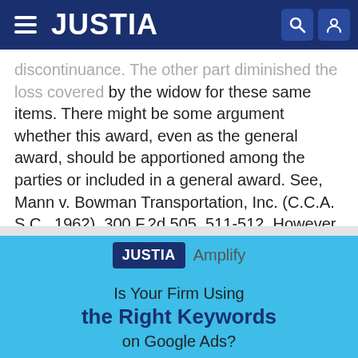JUSTIA
discontinuance. The other part diminutted the loss covered by the widow for these same items. There might be some argument whether this award, even as the general award, should be apportioned among the parties or included in a general award. See, Mann v. Bowman Transportation, Inc. (C.C.A. S.C., 1962), 300 F.2d 505, 511-512. However the normal practice in this State is to make a single award, which is distributable as provided in the statute of distribution. I shall follow this practice here.
[Figure (logo): Justia Amplify advertisement banner with JUSTIA badge and text 'Is Your Firm Using the Right Keywords on Google Ads?']